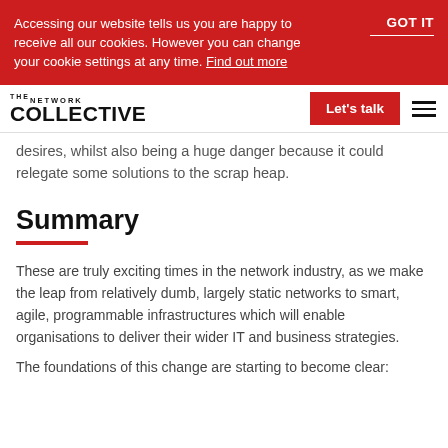Accessing our website tells us you are happy to receive all our cookies. However you can change your cookie settings at any time. Find out more   GOT IT
THE NETWORK COLLECTIVE   Let's talk
desires, whilst also being a huge danger because it could relegate some solutions to the scrap heap.
Summary
These are truly exciting times in the network industry, as we make the leap from relatively dumb, largely static networks to smart, agile, programmable infrastructures which will enable organisations to deliver their wider IT and business strategies.
The foundations of this change are starting to become clear: